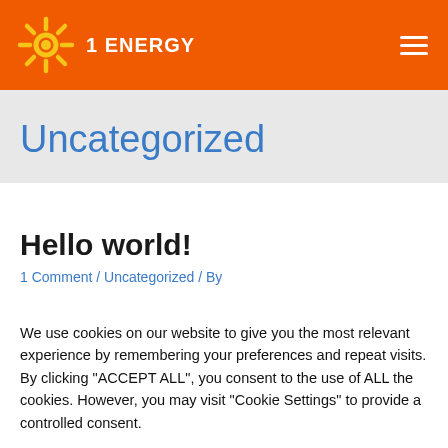[Figure (logo): 1 Energy logo with orange background, sun icon in yellow, and white text '1 ENERGY', plus hamburger menu icon on right]
Uncategorized
Hello world!
1 Comment / Uncategorized / By [partial]
We use cookies on our website to give you the most relevant experience by remembering your preferences and repeat visits. By clicking "ACCEPT ALL", you consent to the use of ALL the cookies. However, you may visit "Cookie Settings" to provide a controlled consent.
Cookie Settings   REJECT ALL   ACCEPT ALL